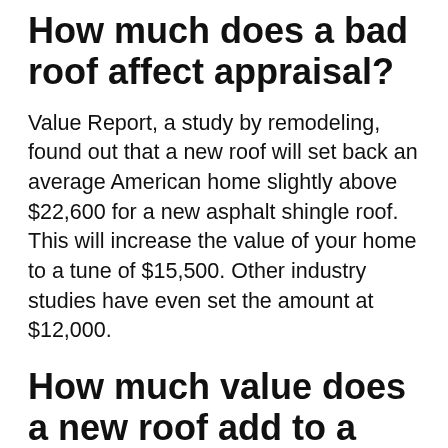How much does a bad roof affect appraisal?
Value Report, a study by remodeling, found out that a new roof will set back an average American home slightly above $22,600 for a new asphalt shingle roof. This will increase the value of your home to a tune of $15,500. Other industry studies have even set the amount at $12,000.
How much value does a new roof add to a house UK?
According to an article by thisismoney.co.uk, a new roof can return up to 63% on your investment, beating the value offered by a new kitchen or bathroom. This increase in